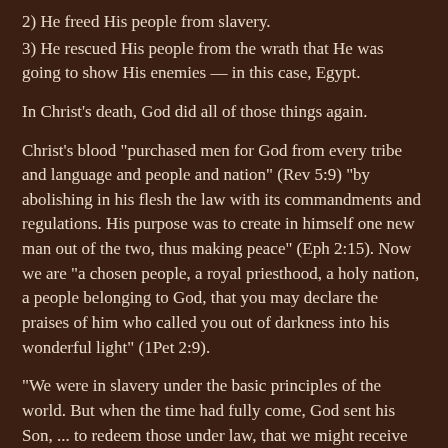2) He freed His people from slavery.
3) He rescued His people from the wrath that He was going to show His enemies — in this case, Egypt.
In Christ's death, God did all of those things again.
Christ's blood "purchased men for God from every tribe and language and people and nation" (Rev 5:9) "by abolishing in his flesh the law with its commandments and regulations. His purpose was to create in himself one new man out of the two, thus making peace" (Eph 2:15). Now we are "a chosen people, a royal priesthood, a holy nation, a people belonging to God, that you may declare the praises of him who called you out of darkness into his wonderful light" (1Pet 2:9).
"We were in slavery under the basic principles of the world. But when the time had fully come, God sent his Son, ... to redeem those under law, that we might receive the full rights of sons. ... So you are no longer a slave, but a son; and since you are a son, God has made you also an heir" (Gal 4:3-7).
"The wrath of God is being revealed from heaven against all the